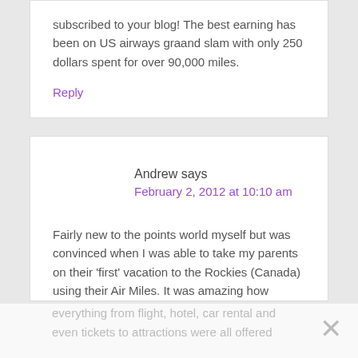subscribed to your blog! The best earning has been on US airways graand slam with only 250 dollars spent for over 90,000 miles.
Reply
Andrew says
February 2, 2012 at 10:10 am
Fairly new to the points world myself but was convinced when I was able to take my parents on their 'first' vacation to the Rockies (Canada) using their Air Miles. It was amazing how everything from flight, hotel, car rental and even tickets to attractions were all offered